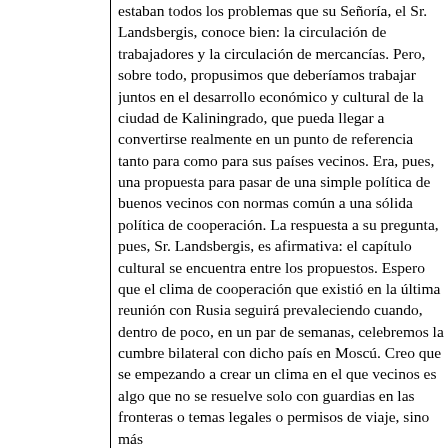estaban todos los problemas que su Señoría, el Sr. Landsbergis, conoce bien: la circulación de trabajadores y la circulación de mercancías. Pero, sobre todo, propusimos que deberíamos trabajar juntos en el desarrollo económico y cultural de la ciudad de Kaliningrado, que pueda llegar a convertirse realmente en un punto de referencia tanto para como para sus países vecinos. Era, pues, una propuesta para pasar de una simple política de buenos vecinos con normas común a una sólida política de cooperación. La respuesta a su pregunta, pues, Sr. Landsbergis, es afirmativa: el capítulo cultural se encuentra entre los propuestos. Espero que el clima de cooperación que existió en la última reunión con Rusia seguirá prevaleciendo cuando, dentro de poco, en un par de semanas, celebremos la cumbre bilateral con dicho país en Moscú. Creo que s empezando a crear un clima en el que vecinos es algo que no se resuelve so con guardias en las fronteras o temas legales o permisos de viaje, sino más